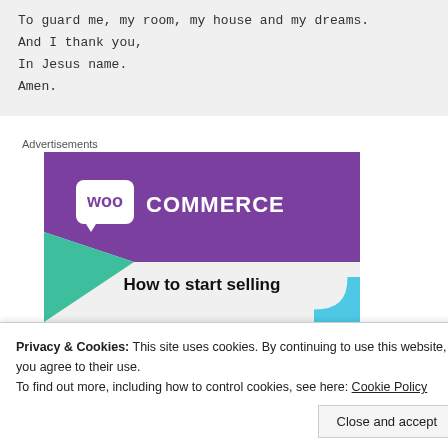To guard me, my room, my house and my dreams.
And I thank you,
In Jesus name.
Amen.
[Figure (screenshot): WooCommerce advertisement banner showing purple header with WooCommerce logo, teal triangle shape, and text 'How to start selling']
Privacy & Cookies: This site uses cookies. By continuing to use this website, you agree to their use.
To find out more, including how to control cookies, see here: Cookie Policy